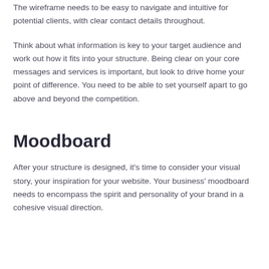The wireframe needs to be easy to navigate and intuitive for potential clients, with clear contact details throughout.
Think about what information is key to your target audience and work out how it fits into your structure. Being clear on your core messages and services is important, but look to drive home your point of difference. You need to be able to set yourself apart to go above and beyond the competition.
Moodboard
After your structure is designed, it's time to consider your visual story, your inspiration for your website. Your business' moodboard needs to encompass the spirit and personality of your brand in a cohesive visual direction.